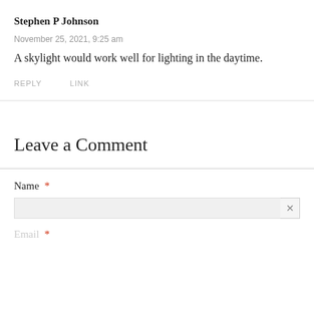Stephen P Johnson
November 25, 2021, 9:25 am
A skylight would work well for lighting in the daytime.
REPLY   LINK
Leave a Comment
Name *
Email *